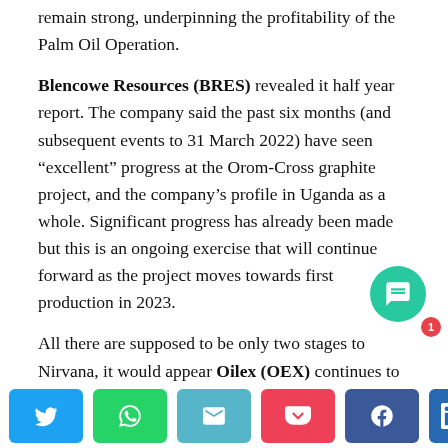remain strong, underpinning the profitability of the Palm Oil Operation.
Blencowe Resources (BRES) revealed it half year report. The company said the past six months (and subsequent events to 31 March 2022) have seen “excellent” progress at the Orom-Cross graphite project, and the company’s profile in Uganda as a whole. Significant progress has already been made but this is an ongoing exercise that will continue forward as the project moves towards first production in 2023.
All there are supposed to be only two stages to Nirvana, it would appear Oilex (OEX) continues to break the mould and add numerous ones. The latest is the workover ri